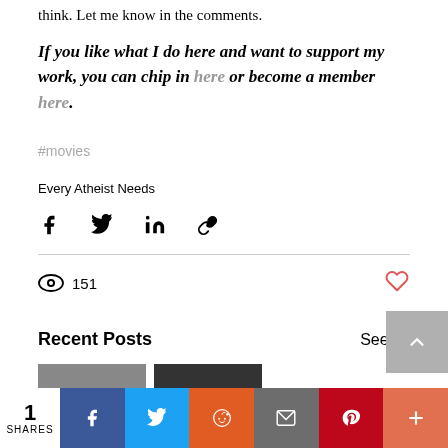think. Let me know in the comments.
If you like what I do here and want to support my work, you can chip in here or become a member here.
#movies
Every Atheist Needs
[Figure (infographic): Social share icons: Facebook, Twitter, LinkedIn, Link]
151 views
Recent Posts
See All
[Figure (infographic): Social share bar with share count 1, Facebook, Twitter, Reddit, Email, Pinterest, Plus buttons]